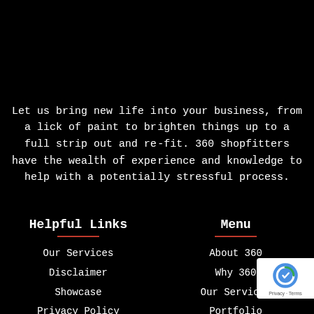Let us bring new life into your business, from a lick of paint to brighten things up to a full strip out and re-fit. 360 shopfitters have the wealth of experience and knowledge to help with a potentially stressful process.
Helpful Links
Menu
Our Services
Disclaimer
Showcase
Privacy Policy
About 360
Why 360
Our Services
Portfolio